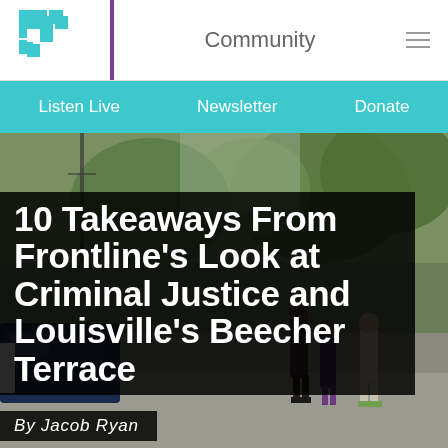Community
Listen Live  Newsletter  Donate
[Figure (photo): Outdoor street scene showing people near a police car and trees in the background, Beecher Terrace housing area]
10 Takeaways From Frontline's Look at Criminal Justice and Louisville's Beecher Terrace
By Jacob Ryan